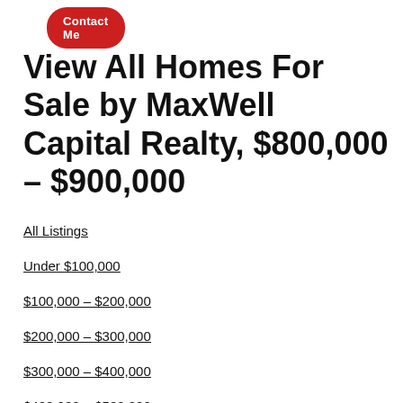[Figure (other): Red rounded button labeled 'Contact Me']
View All Homes For Sale by MaxWell Capital Realty, $800,000 - $900,000
All Listings
Under $100,000
$100,000 - $200,000
$200,000 - $300,000
$300,000 - $400,000
$400,000 - $500,000